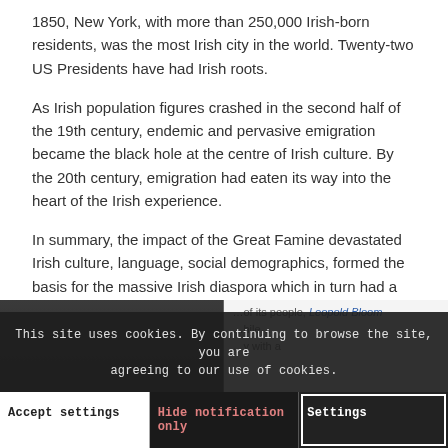1850, New York, with more than 250,000 Irish-born residents, was the most Irish city in the world. Twenty-two US Presidents have had Irish roots.
As Irish population figures crashed in the second half of the 19th century, endemic and pervasive emigration became the black hole at the centre of Irish culture. By the 20th century, emigration had eaten its way into the heart of the Irish experience.
In summary, the impact of the Great Famine devastated Irish culture, language, social demographics, formed the basis for the massive Irish diaspora which in turn had a huge impact on the social history of destination countries.
THE POTATO IN ART AND LITERATURE
[Figure (photo): Partial view of an image at the bottom of the page, partially obscured by a cookie consent banner. Right side shows text mentioning Leopold Bloom and other partially visible text.]
This site uses cookies. By continuing to browse the site, you are agreeing to our use of cookies.
Accept settings | Hide notification only | Settings